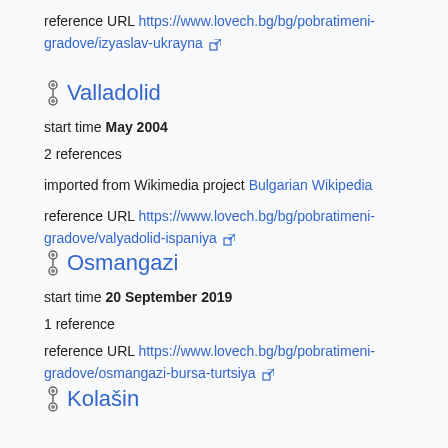reference URL https://www.lovech.bg/bg/pobratimeni-gradove/izyaslav-ukrayna [external link]
Valladolid
start time May 2004
2 references
imported from Wikimedia project Bulgarian Wikipedia
reference URL https://www.lovech.bg/bg/pobratimeni-gradove/valyadolid-ispaniya [external link]
Osmangazi
start time 20 September 2019
1 reference
reference URL https://www.lovech.bg/bg/pobratimeni-gradove/osmangazi-bursa-turtsiya [external link]
Kolašin
start time 14 July 2019
1 reference
reference URL https://www.lovech.bg/bg/pobratimeni-gradove/kolashin-